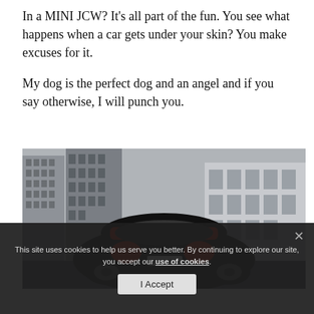In a MINI JCW? It's all part of the fun. You see what happens when a car gets under your skin? You make excuses for it.

My dog is the perfect dog and an angel and if you say otherwise, I will punch you.
[Figure (photo): Rear view of a black MINI JCW hatchback with red roof spoiler, parked in an urban setting with tall concrete buildings in the background. The car's license plate reads SKZ9OAE.]
This site uses cookies to help us serve you better. By continuing to explore our site, you accept our use of cookies.
I Accept